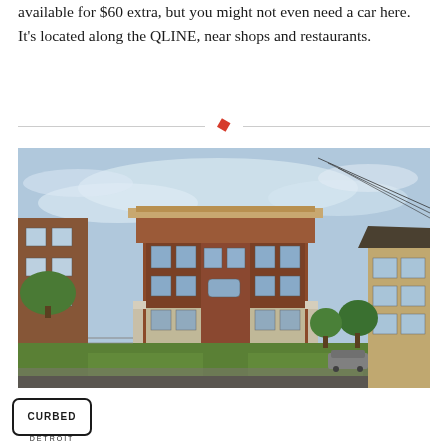available for $60 extra, but you might not even need a car here. It’s located along the QLINE, near shops and restaurants.
[Figure (photo): Exterior photo of a three-story historic brick apartment building in Detroit, with ornate facade details, bay windows, and a front lawn. Adjacent brick buildings visible on both sides.]
[Figure (logo): Curbed Detroit logo — rectangular outline with 'CURBED' text above 'DETROIT']